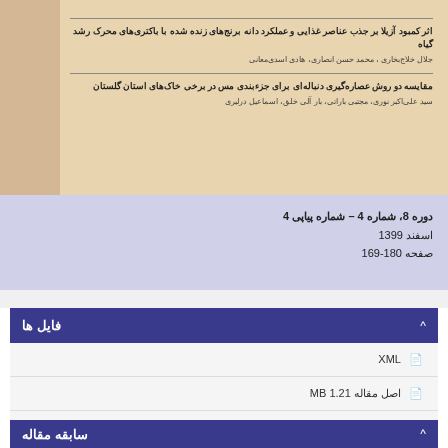[Figure (illustration): Beige/tan decorative header section with brown sidebar and article listing text in Persian/Farsi]
اثر کمبود آزیلا بر جذب عناصر غذایی و عملکرد دانه برنج‌های زنده شده با باکتری‌های محرک رشد گیاه
جلال خلاج‌بخاری، محمد حسن انصاری، هادی اسدی‌معانی
مقایسه دو روش عصاره‌گیری دنباله‌ای برای جزء‌بندی مس در برخی خاک‌های استان گلستان
سید علی‌اکبر نوری، مجتبی باراتی، بار آلی خلق، اسماعیل درلیری
دوره 8، شماره 4 – شماره پیاپی 4
اسفند 1399
صفحه 180-169
فایل ها
XML
اصل مقاله 1.21 MB
سابقه مقاله